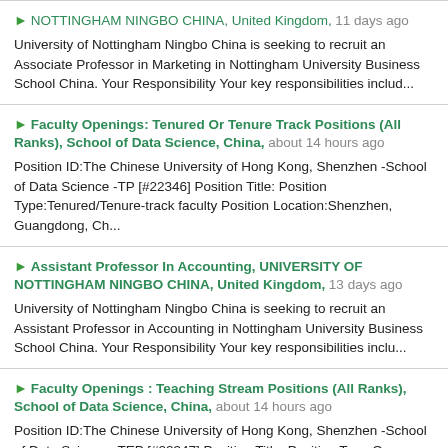NOTTINGHAM NINGBO CHINA, United Kingdom, 11 days ago
University of Nottingham Ningbo China is seeking to recruit an Associate Professor in Marketing in Nottingham University Business School China. Your Responsibility Your key responsibilities includ...
Faculty Openings: Tenured Or Tenure Track Positions (All Ranks), School of Data Science, China, about 14 hours ago
Position ID:The Chinese University of Hong Kong, Shenzhen -School of Data Science -TP [#22346] Position Title: Position Type:Tenured/Tenure-track faculty Position Location:Shenzhen, Guangdong, Ch...
Assistant Professor In Accounting, UNIVERSITY OF NOTTINGHAM NINGBO CHINA, United Kingdom, 13 days ago
University of Nottingham Ningbo China is seeking to recruit an Assistant Professor in Accounting in Nottingham University Business School China. Your Responsibility Your key responsibilities inclu...
Faculty Openings : Teaching Stream Positions (All Ranks), School of Data Science, China, about 14 hours ago
Position ID:The Chinese University of Hong Kong, Shenzhen -School of Data Science -TEP [#22347] Position Title: Position Type:Open Rank Position Location:Shenzhen, Guangdong, China [map ]